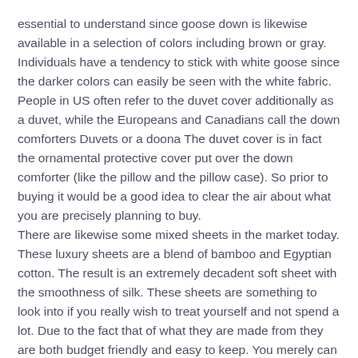essential to understand since goose down is likewise available in a selection of colors including brown or gray. Individuals have a tendency to stick with white goose since the darker colors can easily be seen with the white fabric.
People in US often refer to the duvet cover additionally as a duvet, while the Europeans and Canadians call the down comforters Duvets or a doona The duvet cover is in fact the ornamental protective cover put over the down comforter (like the pillow and the pillow case). So prior to buying it would be a good idea to clear the air about what you are precisely planning to buy.
There are likewise some mixed sheets in the market today. These luxury sheets are a blend of bamboo and Egyptian cotton. The result is an extremely decadent soft sheet with the smoothness of silk. These sheets are something to look into if you really wish to treat yourself and not spend a lot. Due to the fact that of what they are made from they are both budget friendly and easy to keep. You merely can not go wrong with